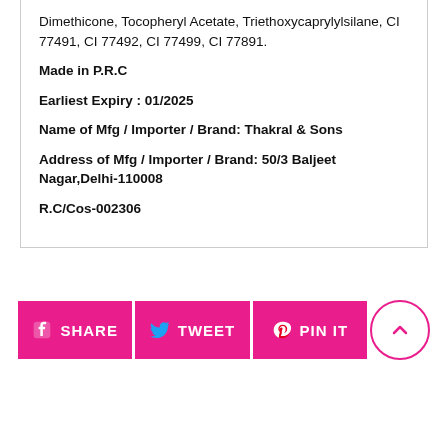Dimethicone, Tocopheryl Acetate, Triethoxycaprylylsilane, CI 77491, CI 77492, CI 77499, CI 77891.
Made in P.R.C
Earliest Expiry : 01/2025
Name of Mfg / Importer / Brand: Thakral & Sons
Address of Mfg / Importer / Brand: 50/3 Baljeet Nagar,Delhi-110008
R.C/Cos-002306
[Figure (other): Social sharing buttons: SHARE (Facebook), TWEET (Twitter), PIN IT (Pinterest), and an up-arrow circle button, all in hot pink.]